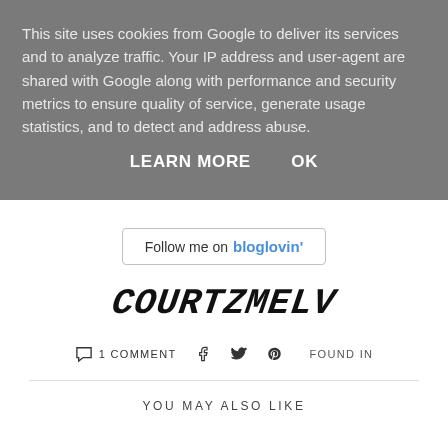This site uses cookies from Google to deliver its services and to analyze traffic. Your IP address and user-agent are shared with Google along with performance and security metrics to ensure quality of service, generate usage statistics, and to detect and address abuse.
LEARN MORE    OK
[Figure (other): Follow me on bloglovin' button with border]
COURTZMELV
1 COMMENT   [facebook icon]   [twitter icon]   [pinterest icon]   FOUND IN
YOU MAY ALSO LIKE